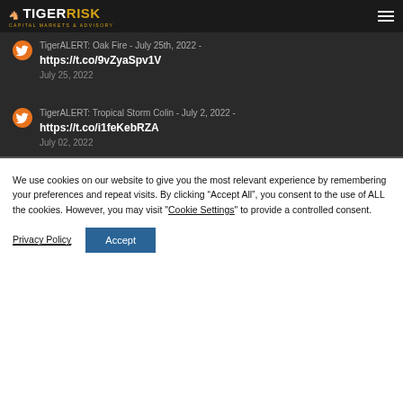TigerRisk Capital Markets & Advisory
TigerALERT: Oak Fire - July 25th, 2022 - https://t.co/9vZyaSpv1V
July 25, 2022
TigerALERT: Tropical Storm Colin - July 2, 2022 - https://t.co/i1feKebRZA
July 02, 2022
We use cookies on our website to give you the most relevant experience by remembering your preferences and repeat visits. By clicking “Accept All”, you consent to the use of ALL the cookies. However, you may visit "Cookie Settings" to provide a controlled consent.
Privacy Policy | Accept